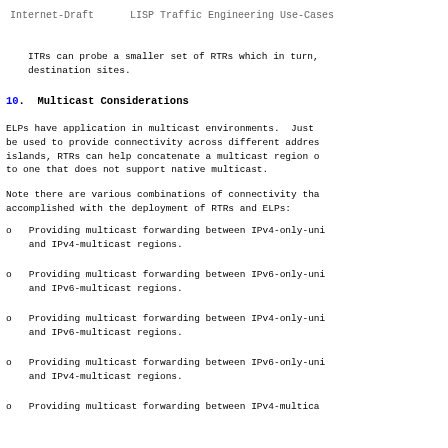Internet-Draft      LISP Traffic Engineering Use-Cases
ITRs can probe a smaller set of RTRs which in turn,
destination sites.
10.  Multicast Considerations
ELPs have application in multicast environments.  Just
be used to provide connectivity across different addres
islands, RTRs can help concatenate a multicast region o
to one that does not support native multicast.
Note there are various combinations of connectivity tha
accomplished with the deployment of RTRs and ELPs:
o   Providing multicast forwarding between IPv4-only-uni
    and IPv4-multicast regions.
o   Providing multicast forwarding between IPv6-only-uni
    and IPv6-multicast regions.
o   Providing multicast forwarding between IPv4-only-uni
    and IPv6-multicast regions.
o   Providing multicast forwarding between IPv6-only-uni
    and IPv4-multicast regions.
o   Providing multicast forwarding between IPv4-multica...